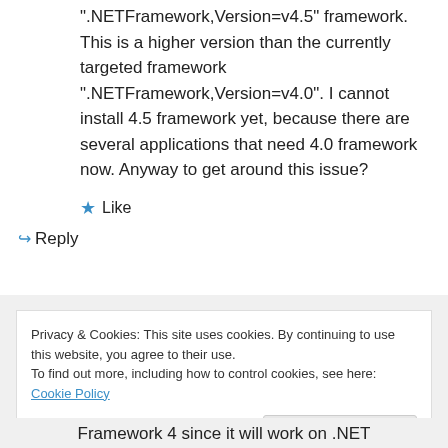“.NETFramework,Version=v4.5” framework. This is a higher version than the currently targeted framework “.NETFramework,Version=v4.0”. I cannot install 4.5 framework yet, because there are several applications that need 4.0 framework now. Anyway to get around this issue?
★ Like
↪ Reply
Privacy & Cookies: This site uses cookies. By continuing to use this website, you agree to their use.
To find out more, including how to control cookies, see here: Cookie Policy
Close and accept
Framework 4 since it will work on .NET